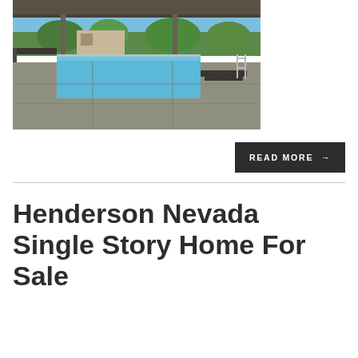[Figure (photo): Outdoor pool area with covered patio/deck, concrete flooring, lounge chairs, blue pool water visible, trees and buildings in background under blue sky]
READ MORE →
Henderson Nevada Single Story Home For Sale